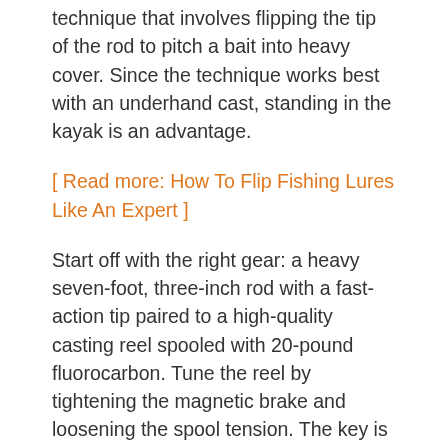technique that involves flipping the tip of the rod to pitch a bait into heavy cover. Since the technique works best with an underhand cast, standing in the kayak is an advantage.
[ Read more: How To Flip Fishing Lures Like An Expert ]
Start off with the right gear: a heavy seven-foot, three-inch rod with a fast-action tip paired to a high-quality casting reel spooled with 20-pound fluorocarbon. Tune the reel by tightening the magnetic brake and loosening the spool tension. The key is to make an accurate underhand cast that produces minimal splash. Rig a soft plastic creature on a matching wide-gap worm hook. Then slide a